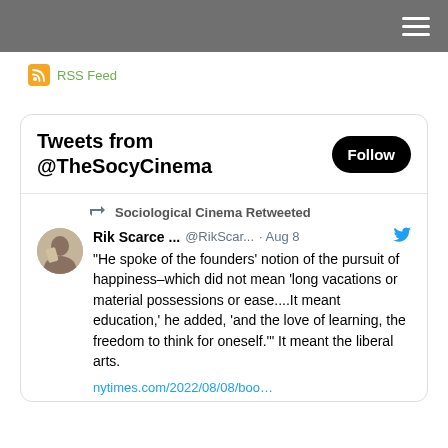≡
RSS Feed
Tweets from @TheSocyCinema
Sociological Cinema Retweeted
Rik Scarce ... @RikScar... · Aug 8
"He spoke of the founders' notion of the pursuit of happiness–which did not mean 'long vacations or material possessions or ease....It meant education,' he added, 'and the love of learning, the freedom to think for oneself.'" It meant the liberal arts.
nytimes.com/2022/08/08/boo…